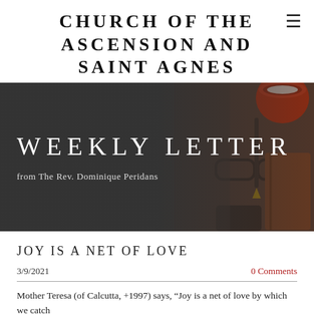CHURCH OF THE ASCENSION AND SAINT AGNES
[Figure (photo): Dark desk background with glasses, pen, notebook, and red coffee cup; overlaid with 'WEEKLY LETTER' heading and subtitle 'from The Rev. Dominique Peridans']
JOY IS A NET OF LOVE
3/9/2021
0 Comments
Mother Teresa (of Calcutta, +1997) says, “Joy is a net of love by which we catch